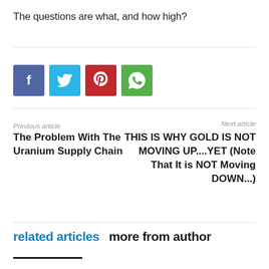The questions are what, and how high?
[Figure (infographic): Four social sharing buttons: Facebook (blue), Twitter (light blue), Pinterest (red), WhatsApp (green)]
Previous article
Next article
The Problem With The Uranium Supply Chain
THIS IS WHY GOLD IS NOT MOVING UP....YET (Note That It is NOT Moving DOWN...)
related articles  more from author